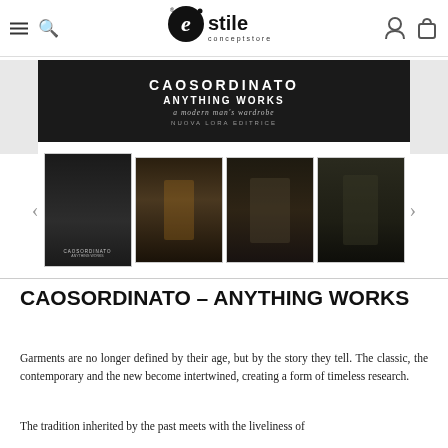Estile conceptstore – navigation header with logo, hamburger menu, search, user and bag icons
[Figure (photo): Dark promotional banner for CAOSORDINATO – ANYTHING WORKS, a modern man's wardrobe, NUOVA LORA EDITRICE]
[Figure (photo): Row of four fashion book thumbnail images showing menswear styling from CAOSORDINATO]
CAOSORDINATO – ANYTHING WORKS
Garments are no longer defined by their age, but by the story they tell. The classic, the contemporary and the new become intertwined, creating a form of timeless research.
The tradition inherited by the past meets with the liveliness of